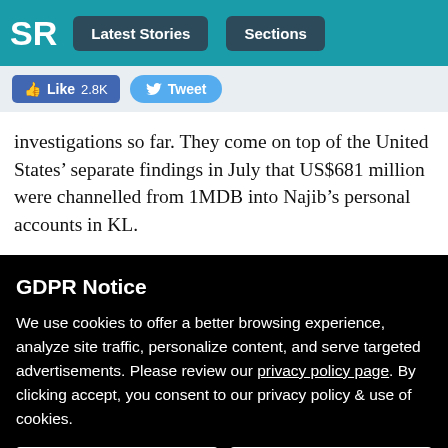SR | Latest Stories | Sections
[Figure (screenshot): Social media buttons: Like 2.8K and Tweet]
investigations so far. They come on top of the United States’ separate findings in July that US$681 million were channelled from 1MDB into Najib’s personal accounts in KL.
GDPR Notice
We use cookies to offer a better browsing experience, analyze site traffic, personalize content, and serve targeted advertisements. Please review our privacy policy page. By clicking accept, you consent to our privacy policy & use of cookies.
Preferences | Confirm all